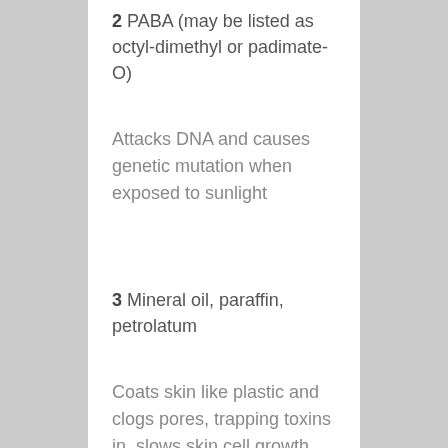2 PABA (may be listed as octyl-dimethyl or padimate-O)
Attacks DNA and causes genetic mutation when exposed to sunlight
3 Mineral oil, paraffin, petrolatum
Coats skin like plastic and clogs pores, trapping toxins in, slows skin cell growth, disrupts normal hormone function, source of...